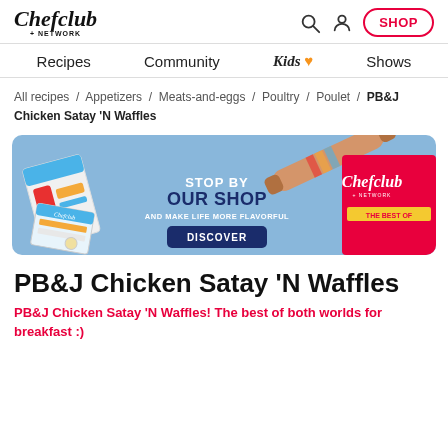Chefclub Network — Recipes / Community / Kids / Shows — SHOP
All recipes / Appetizers / Meats-and-eggs / Poultry / Poulet / PB&J Chicken Satay 'N Waffles
[Figure (photo): Chefclub shop advertisement banner with text: STOP BY OUR SHOP AND MAKE LIFE MORE FLAVORFUL — DISCOVER button, showing Chefclub branded products on a blue background]
PB&J Chicken Satay 'N Waffles
PB&J Chicken Satay 'N Waffles! The best of both worlds for breakfast :)